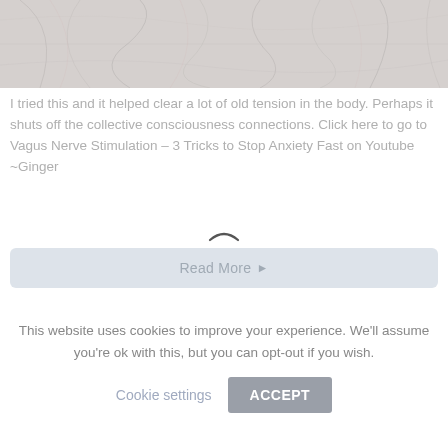[Figure (photo): Faded/washed-out photo of neural or branch-like structures on a light background]
I tried this and it helped clear a lot of old tension in the body. Perhaps it shuts off the collective consciousness connections. Click here to go to Vagus Nerve Stimulation – 3 Tricks to Stop Anxiety Fast on Youtube ~Ginger
Read More ▶
This website uses cookies to improve your experience. We'll assume you're ok with this, but you can opt-out if you wish.
Cookie settings
ACCEPT